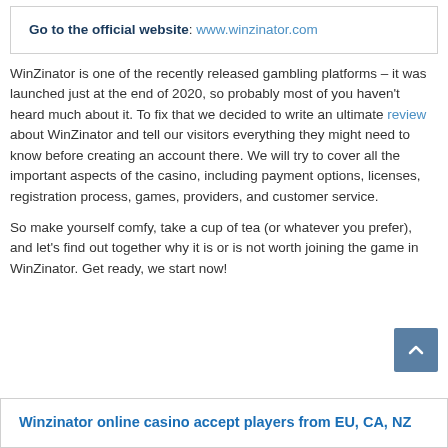Go to the official website: www.winzinator.com
WinZinator is one of the recently released gambling platforms – it was launched just at the end of 2020, so probably most of you haven't heard much about it. To fix that we decided to write an ultimate review about WinZinator and tell our visitors everything they might need to know before creating an account there. We will try to cover all the important aspects of the casino, including payment options, licenses, registration process, games, providers, and customer service.

So make yourself comfy, take a cup of tea (or whatever you prefer), and let's find out together why it is or is not worth joining the game in WinZinator. Get ready, we start now!
Winzinator online casino accept players from EU, CA, NZ